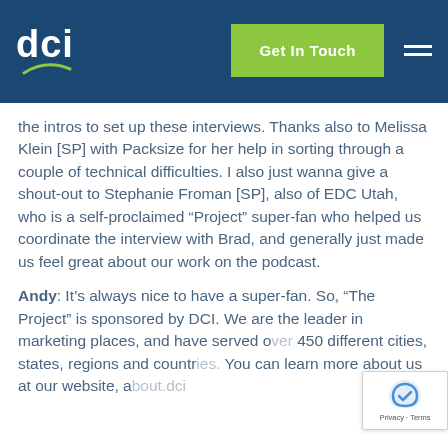dci | Get In Touch
the intros to set up these interviews. Thanks also to Melissa Klein [SP] with Packsize for her help in sorting through a couple of technical difficulties. I also just wanna give a shout-out to Stephanie Froman [SP], also of EDC Utah, who is a self-proclaimed “Project” super-fan who helped us coordinate the interview with Brad, and generally just made us feel great about our work on the podcast.
Andy: It’s always nice to have a super-fan. So, “The Project” is sponsored by DCI. We are the leader in marketing places, and have served over 450 different cities, states, regions and countries. You can learn more about us at our website, about.dci...